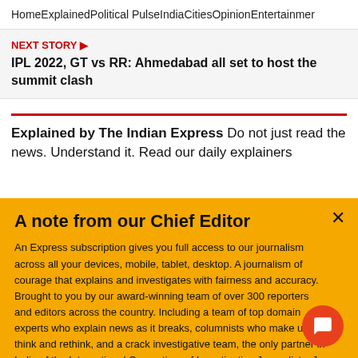Home   Explained   Political Pulse   India   Cities   Opinion   Entertainmer
NEXT STORY ▶
IPL 2022, GT vs RR: Ahmedabad all set to host the summit clash
Explained by The Indian Express Do not just read the news. Understand it. Read our daily explainers
A note from our Chief Editor
An Express subscription gives you full access to our journalism across all your devices, mobile, tablet, desktop. A journalism of courage that explains and investigates with fairness and accuracy. Brought to you by our award-winning team of over 300 reporters and editors across the country. Including a team of top domain experts who explain news as it breaks, columnists who make us think and rethink, and a crack investigative team, the only partner in India of the International Consortium of Investigative Journalists. Jo
Buy Now →